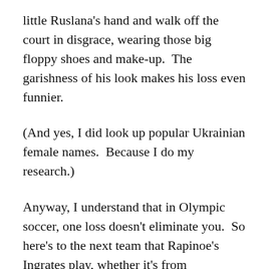little Ruslana's hand and walk off the court in disgrace, wearing those big floppy shoes and make-up.  The garishness of his look makes his loss even funnier.
(And yes, I did look up popular Ukrainian female names.  Because I do my research.)
Anyway, I understand that in Olympic soccer, one loss doesn't eliminate you.  So here's to the next team that Rapinoe's Ingrates play, whether it's from Swaziland, Brigadoon, or Katmandu.
We're rooting for you, even if you come from a foreign country where your customs are silly,